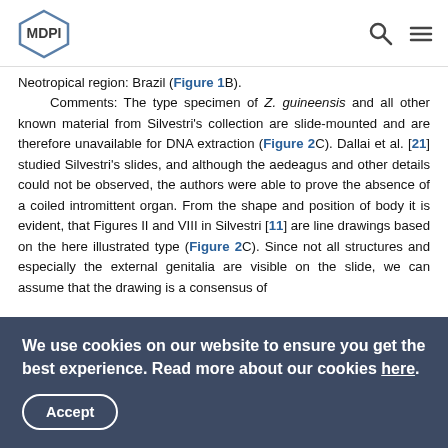MDPI [logo] [search icon] [menu icon]
Neotropical region: Brazil (Figure 1B). Comments: The type specimen of Z. guineensis and all other known material from Silvestri's collection are slide-mounted and are therefore unavailable for DNA extraction (Figure 2C). Dallai et al. [21] studied Silvestri's slides, and although the aedeagus and other details could not be observed, the authors were able to prove the absence of a coiled intromittent organ. From the shape and position of body it is evident, that Figures II and VIII in Silvestri [11] are line drawings based on the here illustrated type (Figure 2C). Since not all structures and especially the external genitalia are visible on the slide, we can assume that the drawing is a consensus of
We use cookies on our website to ensure you get the best experience. Read more about our cookies here.
Accept